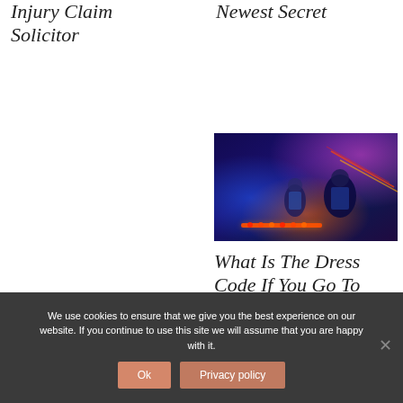Injury Claim Solicitor
Newest Secret
[Figure (photo): People in a dark neon-lit room, possibly a gaming or entertainment venue, with blue and red/orange lighting. Figures are visible against glowing lights on a console or table.]
What Is The Dress Code If You Go To
We use cookies to ensure that we give you the best experience on our website. If you continue to use this site we will assume that you are happy with it.